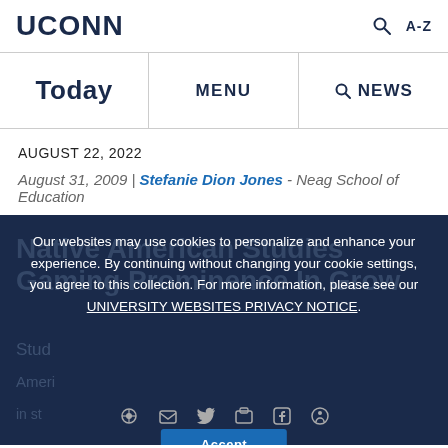UCONN
Today | MENU | NEWS
AUGUST 22, 2022
August 31, 2009 | Stefanie Dion Jones - Neag School of Education
Native American Studies Gaming Prominence In Growing Study of American...
Our websites may use cookies to personalize and enhance your experience. By continuing without changing your cookie settings, you agree to this collection. For more information, please see our UNIVERSITY WEBSITES PRIVACY NOTICE.